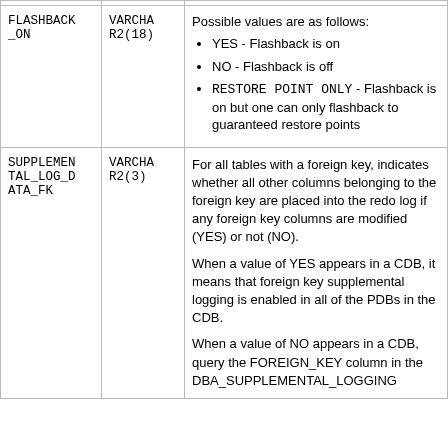| Column | Datatype | Description |
| --- | --- | --- |
| FLASHBACK_ON | VARCHAR2(18) | Possible values are as follows:
• YES - Flashback is on
• NO - Flashback is off
• RESTORE POINT ONLY - Flashback is on but one can only flashback to guaranteed restore points |
| SUPPLEMENTAL_LOG_DATA_FK | VARCHAR2(3) | For all tables with a foreign key, indicates whether all other columns belonging to the foreign key are placed into the redo log if any foreign key columns are modified (YES) or not (NO).

When a value of YES appears in a CDB, it means that foreign key supplemental logging is enabled in all of the PDBs in the CDB.

When a value of NO appears in a CDB, query the FOREIGN_KEY column in the DBA_SUPPLEMENTAL_LOGGING... |